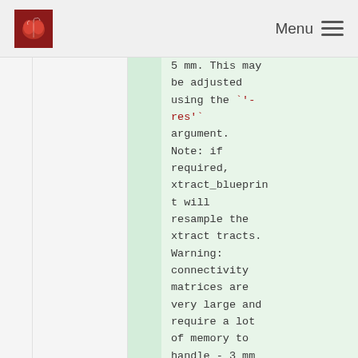Menu
5 mm. This may be adjusted using the `'-res'` argument. Note: if required, xtract_blueprint will resample the xtract tracts. Warning: connectivity matrices are very large and require a lot of memory to handle - 3 mm is usually sufficient for the alt...